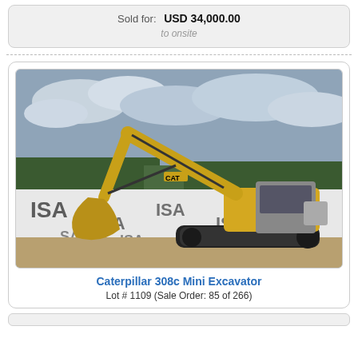Sold for: USD 34,000.00
to onsite
[Figure (photo): Caterpillar 308c Mini Excavator, yellow CAT excavator on dirt ground in front of ISA branded banner, overcast sky with trees in background]
Caterpillar 308c Mini Excavator
Lot # 1109 (Sale Order: 85 of 266)